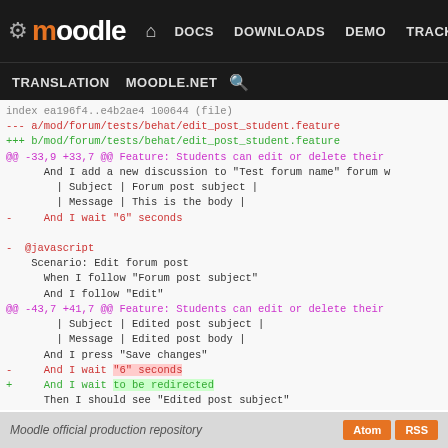Moodle navigation: DOCS DOWNLOADS DEMO TRACKER DEV | TRANSLATION MOODLE.NET search
[Figure (screenshot): Code diff view showing changes to edit_post_student.feature file in Moodle repository]
Moodle official production repository   Atom  RSS